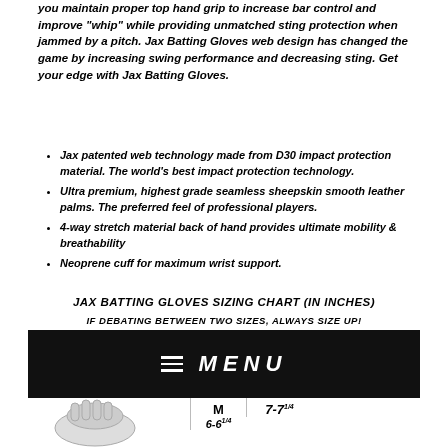you maintain proper top hand grip to increase bar control and improve "whip" while providing unmatched sting protection when jammed by a pitch. Jax Batting Gloves web design has changed the game by increasing swing performance and decreasing sting. Get your edge with Jax Batting Gloves.
Jax patented web technology made from D30 impact protection material. The world's best impact protection technology.
Ultra premium, highest grade seamless sheepskin smooth leather palms. The preferred feel of professional players.
4-way stretch material back of hand provides ultimate mobility & breathability
Neoprene cuff for maximum wrist support.
JAX BATTING GLOVES SIZING CHART (IN INCHES)
IF DEBATING BETWEEN TWO SIZES, ALWAYS SIZE UP!
[Figure (screenshot): Black navigation bar with hamburger menu icon and MENU text in white italic bold]
|  | M | 6-6 1/4 | 7-7 1/4 |  |